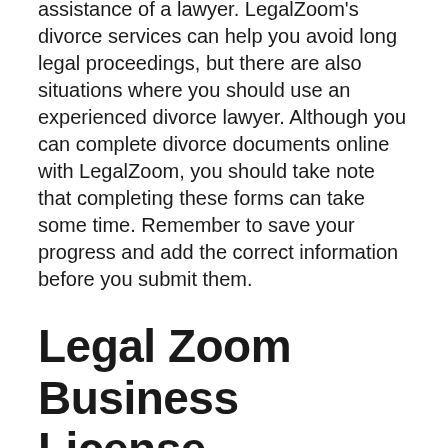is complicated, you should seek the assistance of a lawyer. LegalZoom's divorce services can help you avoid long legal proceedings, but there are also situations where you should use an experienced divorce lawyer. Although you can complete divorce documents online with LegalZoom, you should take note that completing these forms can take some time. Remember to save your progress and add the correct information before you submit them.
Legal Zoom Business License
A provision that prohibited nonlawyers from participating in attorney fee-sharing